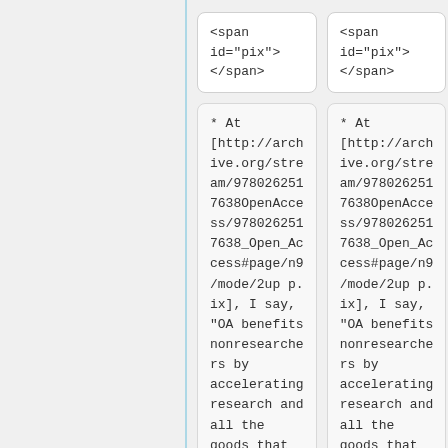<span id="pix">
</span>
<span id="pix">
</span>
* At [http://archive.org/stream/97802625176380penAccess/9780262517638_Open_Access#page/n9/mode/2up p.ix], I say, "OA benefits nonresearchers by accelerating research and all the goods that
* At [http://archive.org/stream/97802625176380penAccess/9780262517638_Open_Access#page/n9/mode/2up p.ix], I say, "OA benefits nonresearchers by accelerating research and all the goods that